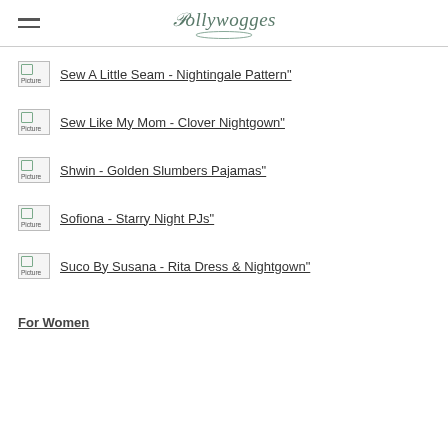Pollywogges
Sew A Little Seam - Nightingale Pattern"
Sew Like My Mom - Clover Nightgown"
Shwin - Golden Slumbers Pajamas"
Sofiona - Starry Night PJs"
Suco By Susana - Rita Dress & Nightgown"
For Women